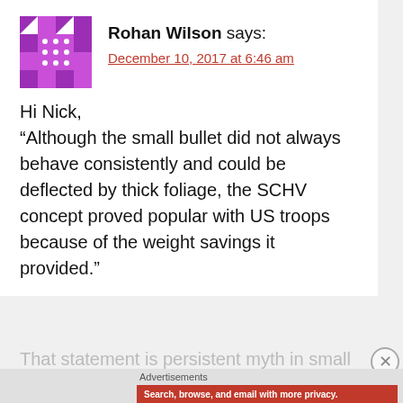[Figure (illustration): Purple avatar icon with geometric/quilt pattern for user Rohan Wilson]
Rohan Wilson says:
December 10, 2017 at 6:46 am
Hi Nick,
“Although the small bullet did not always behave consistently and could be deflected by thick foliage, the SCHV concept proved popular with US troops because of the weight savings it provided.”
That statement is persistent myth in small
Advertisements
[Figure (screenshot): DuckDuckGo advertisement banner: orange background with smartphone image. Text: Search, browse, and email with more privacy. All in One Free App. DuckDuckGo logo.]